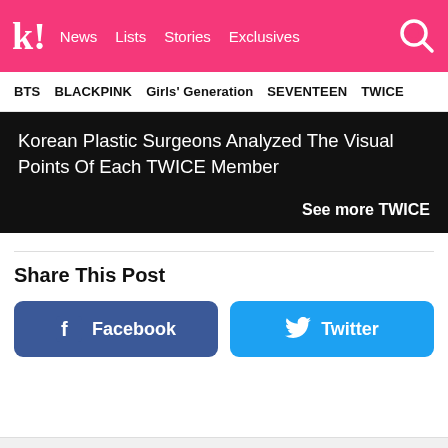k! News Lists Stories Exclusives
BTS BLACKPINK Girls' Generation SEVENTEEN TWICE
Korean Plastic Surgeons Analyzed The Visual Points Of Each TWICE Member
See more TWICE
Share This Post
Facebook
Twitter